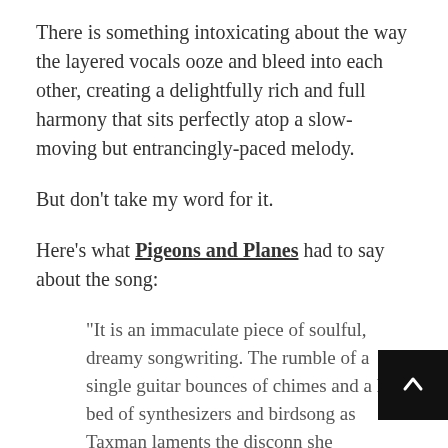There is something intoxicating about the way the layered vocals ooze and bleed into each other, creating a delightfully rich and full harmony that sits perfectly atop a slow-moving but entrancingly-paced melody.
But don't take my word for it.
Here's what Pigeons and Planes had to say about the song:
“It is an immaculate piece of soulful, dreamy songwriting. The rumble of a single guitar bounces of chimes and a lazy bed of synthesizers and birdsong as Taxman laments the disconn she encounters on the day to day. That’s the song’s first act. It smooths the way out before